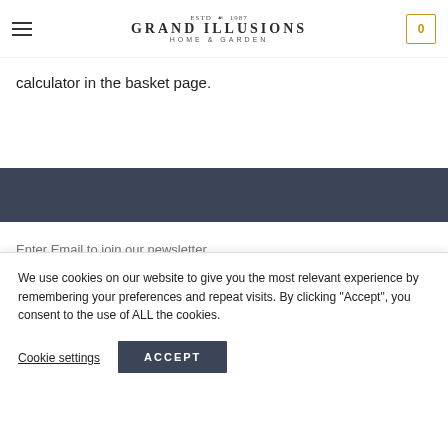Grand Illusions Home & Garden — navigation header with hamburger menu and cart icon (0)
calculator in the basket page.
[Figure (other): Dark blue-grey header band]
Enter Email to join our newsletter
SIGN UP
We use cookies on our website to give you the most relevant experience by remembering your preferences and repeat visits. By clicking "Accept", you consent to the use of ALL the cookies.
Cookie settings
ACCEPT